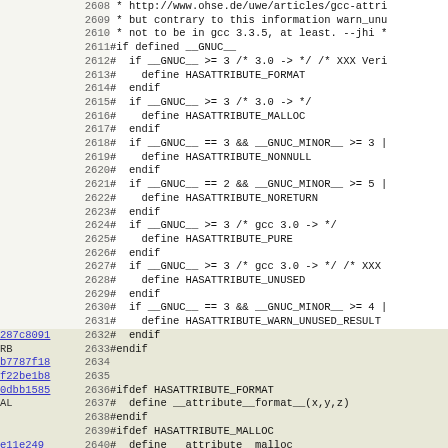Source code diff view showing lines 2608-2639 with line numbers, git SHA annotations, and C preprocessor code for HASATTRIBUTE macros